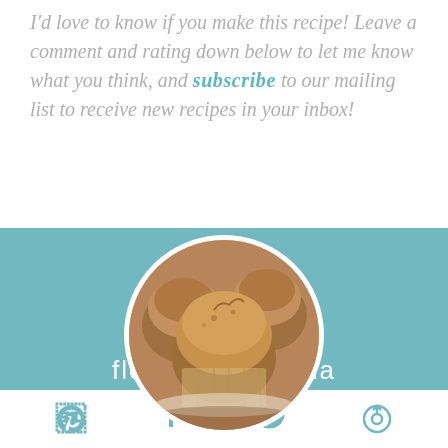I'd love to know if you make this recipe! Leave a comment and rating down below to let me know what you think, and subscribe to our mailing list to receive new recipes in your inbox!
[Figure (photo): Circular photo of banana muffins in a baking tray, overlapping a teal background card]
flourless banana
[Figure (infographic): Social sharing icon bar at the bottom with Pinterest, Facebook, Twitter, and email/share icons in teal color on white background]